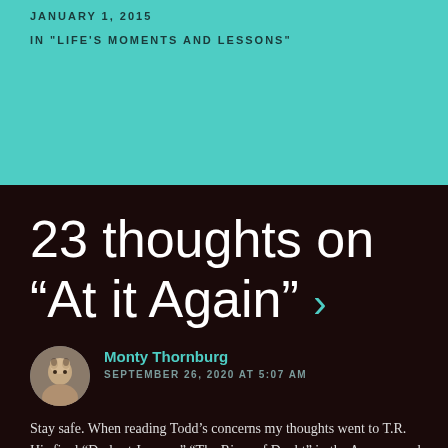JANUARY 1, 2015
IN "LIFE'S MOMENTS AND LESSONS"
23 thoughts on “At it Again” ›
Monty Thornburg
SEPTEMBER 26, 2020 AT 5:07 AM
Stay safe. When reading Todd’s concerns my thoughts went to T.R. His final “Darkest Journey” “The River of Doubt” in the Amazon and his fateful life after...